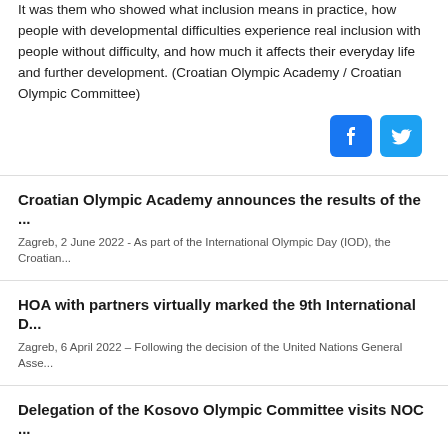It was them who showed what inclusion means in practice, how people with developmental difficulties experience real inclusion with people without difficulty, and how much it affects their everyday life and further development. (Croatian Olympic Academy / Croatian Olympic Committee)
[Figure (other): Social media share icons: Facebook (blue) and Twitter (light blue) rounded square buttons]
Croatian Olympic Academy announces the results of the ...
Zagreb, 2 June 2022 - As part of the International Olympic Day (IOD), the Croatian...
HOA with partners virtually marked the 9th International D...
Zagreb, 6 April 2022 – Following the decision of the United Nations General Asse...
Delegation of the Kosovo Olympic Committee visits NOC ...
Zagreb, 9 October 2021 - A three-member delegation from the Kosovo Olympic C...
Croatian Olympic Academy marks the 8th International D...